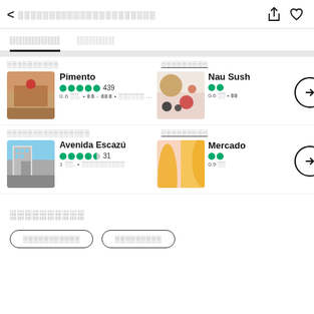< ░░░░░░░░░░░░░░░░░░░░░░
░░░░░░░░   ░░░░░░
░░░░░░░░░░
Pimento  439  0.6 ░░. • ฿฿ - ฿฿฿ • ░░░░░░ ...
░░░░░░░░░  Nau Sush  0.6 ░░ • ฿฿
░░░░░░░░░░░░░░░░
Avenida Escazú  31  1 ░░. • ░░░░░░░░░░
░░░░░░░░░  Mercado  0.9 ░░
░░░░░░░░░░